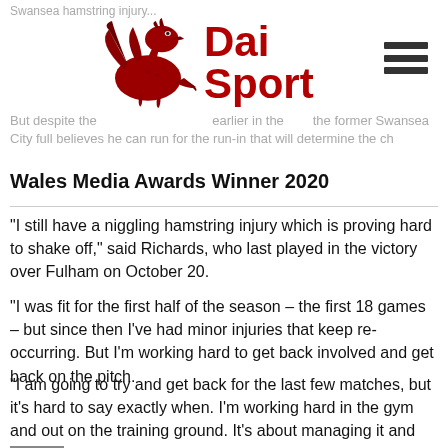Dai Sport — Wales Media Awards Winner 2020
"I still have a niggling hamstring injury which is proving hard to shake off," said Richards, who last played in the victory over Fulham on October 20.
"I was fit for the first half of the season – the first 18 games – but since then I've had minor injuries that keep re-occurring. But I'm working hard to get back involved and get back on the pitch.
"I am going to try and get back for the last few matches, but it's hard to say exactly when. I'm working hard in the gym and out on the training ground. It's about managing it and making sure it's right because I've come back too soon from it before and it's not worked.